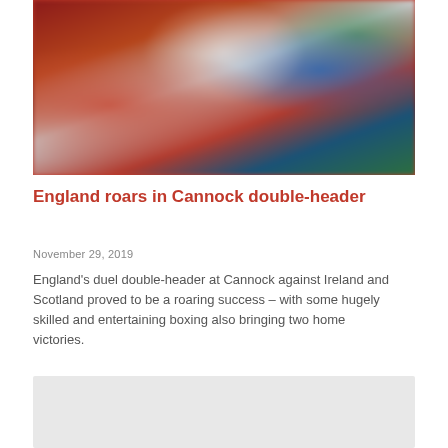[Figure (photo): Boxing ceremony photo showing athletes with flags including red, white/grey, green, and blue, in a blurred arena setting]
England roars in Cannock double-header
November 29, 2019
England's duel double-header at Cannock against Ireland and Scotland proved to be a roaring success – with some hugely skilled and entertaining boxing also bringing two home victories.
[Figure (photo): Second image, partially visible, light grey/white background]